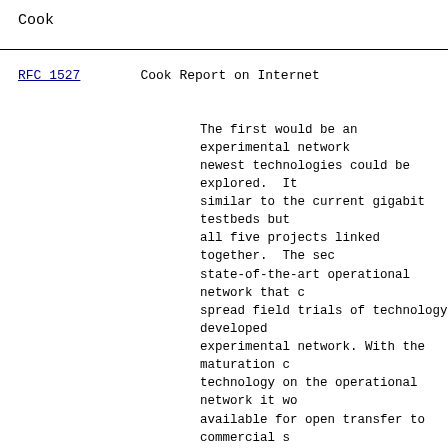Cook
RFC 1527                    Cook Report on Internet
The first would be an experimental network newest technologies could be explored. It similar to the current gigabit testbeds but all five projects linked together. The sec state-of-the-art operational network that c spread field trials of technology developed experimental network. With the maturation c technology on the operational network it wo available for open transfer to commercial s should be remembered that such a continuous network R&D environment would provide wide experience for graduate students that would unavailable.
Initial seed money would come from public f the bulk of support could come from a perce profits (as cash or in kind contributions) participating companies would be required f the CPN as the price of admission for deve benefiting from new technology. Care shou structuring contributions in a way that sma firms would not be locked out. To ensure f